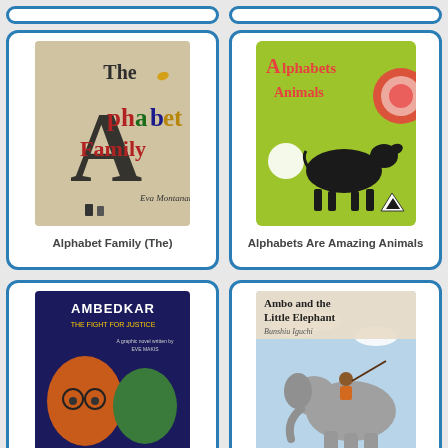[Figure (illustration): Book cover for 'The Alphabet Family' by Eva Montanari, showing stylized letter characters]
Alphabet Family (The)
[Figure (illustration): Book cover for 'Alphabets Are Amazing Animals' showing a black calf on green background]
Alphabets Are Amazing Animals
[Figure (illustration): Book cover for 'Ambedkar: The Fight for Justice' showing illustrated faces]
[Figure (illustration): Book cover for 'Ambo and the Little Elephant' by Bunshiu Iguchi, showing a boy on an elephant]